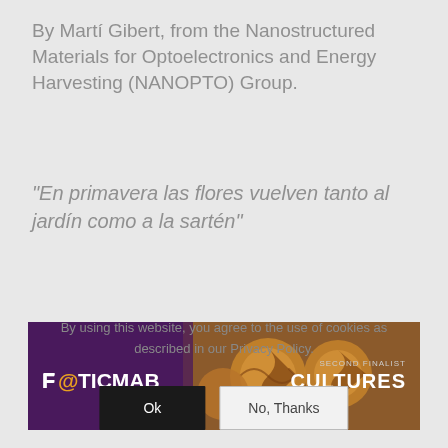By Martí Gibert, from the Nanostructured Materials for Optoelectronics and Energy Harvesting (NANOPTO) Group.
“En primavera las flores vuelven tanto al jardín como a la sartén”
[Figure (photo): Banner image showing FOTICMAB logo on purple background with food photograph and text 'SECOND FINALIST CULTURES']
By using this website, you agree to the use of cookies as described in our Privacy Policy.